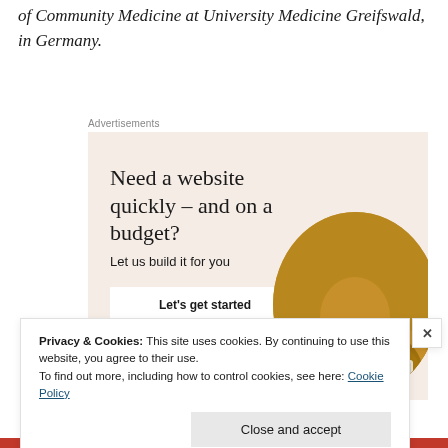of Community Medicine at University Medicine Greifswald, in Germany.
Advertisements
[Figure (illustration): Advertisement banner with beige background showing text 'Need a website quickly – and on a budget? Let us build it for you' with a 'Let's get started' button and a circular photo of a person working on a laptop.]
Privacy & Cookies: This site uses cookies. By continuing to use this website, you agree to their use.
To find out more, including how to control cookies, see here: Cookie Policy
Close and accept